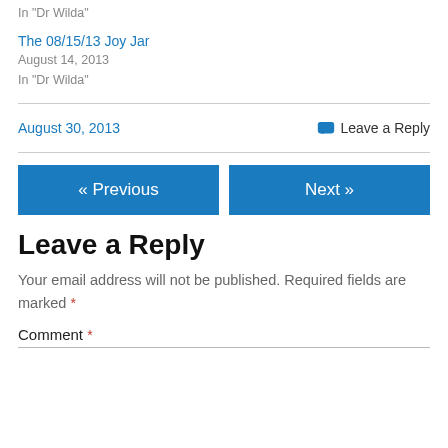In "Dr Wilda"
The 08/15/13 Joy Jar
August 14, 2013
In "Dr Wilda"
August 30, 2013
Leave a Reply
« Previous
Next »
Leave a Reply
Your email address will not be published. Required fields are marked *
Comment *